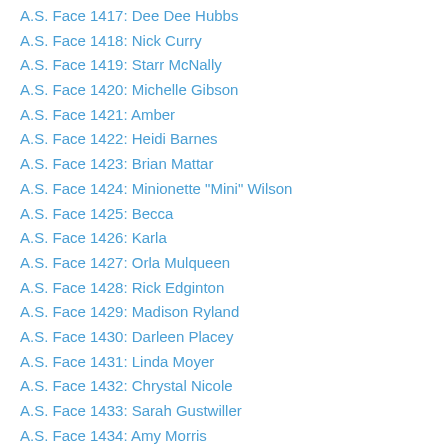A.S. Face 1417: Dee Dee Hubbs
A.S. Face 1418: Nick Curry
A.S. Face 1419: Starr McNally
A.S. Face 1420: Michelle Gibson
A.S. Face 1421: Amber
A.S. Face 1422: Heidi Barnes
A.S. Face 1423: Brian Mattar
A.S. Face 1424: Minionette "Mini" Wilson
A.S. Face 1425: Becca
A.S. Face 1426: Karla
A.S. Face 1427: Orla Mulqueen
A.S. Face 1428: Rick Edginton
A.S. Face 1429: Madison Ryland
A.S. Face 1430: Darleen Placey
A.S. Face 1431: Linda Moyer
A.S. Face 1432: Chrystal Nicole
A.S. Face 1433: Sarah Gustwiller
A.S. Face 1434: Amy Morris
A.S. Face 1435: Sheri Mizell
A.S. Face 1436: Kelly Whelan